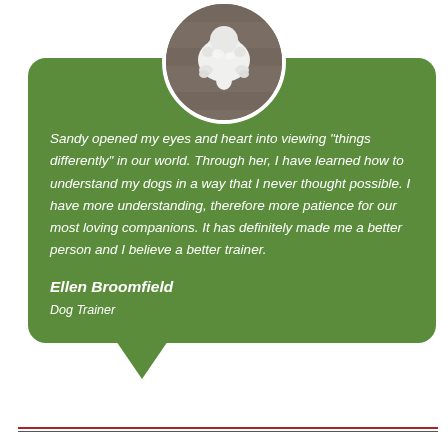[Figure (photo): Circular profile photo of a small white fluffy dog viewed from above, standing on a wooden deck surface]
Sandy opened my eyes and heart into viewing "things differently" in our world. Through her, I have learned how to understand my dogs in a way that I never thought possible. I have more understanding, therefore more patience for our most loving companions. It has definitely made me a better person and I believe a better trainer.
Ellen Broomfield
Dog Trainer